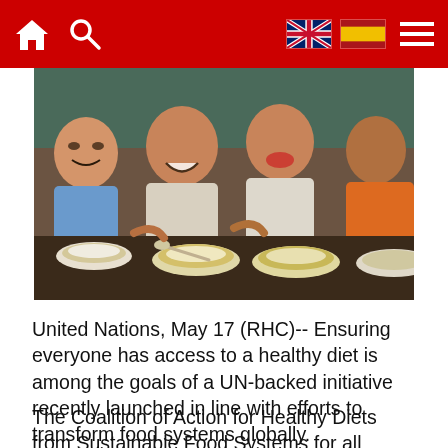Navigation bar with home, search, UK flag, Spain flag, and menu icons
[Figure (photo): Four smiling children eating meals at a table, holding bowls and spoons with food, likely at a school setting]
United Nations, May 17 (RHC)-- Ensuring everyone has access to a healthy diet is among the goals of a UN-backed initiative recently launched in line with efforts to transform food systems globally.
The Coalition of Action for Healthy Diets from Sustainable Food Systems for all (HDSFS), brings together governments, UN